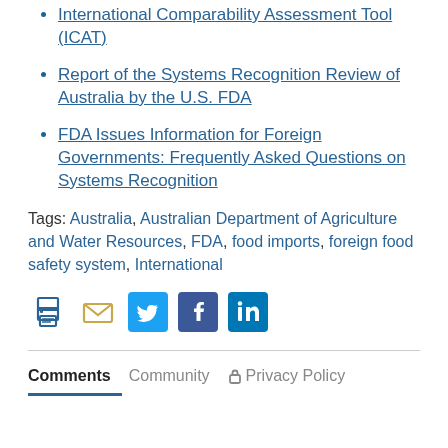International Comparability Assessment Tool (ICAT)
Report of the Systems Recognition Review of Australia by the U.S. FDA
FDA Issues Information for Foreign Governments: Frequently Asked Questions on Systems Recognition
Tags: Australia, Australian Department of Agriculture and Water Resources, FDA, food imports, foreign food safety system, International
[Figure (infographic): Social sharing icons: print, email, Twitter, Facebook, LinkedIn]
Comments   Community   Privacy Policy